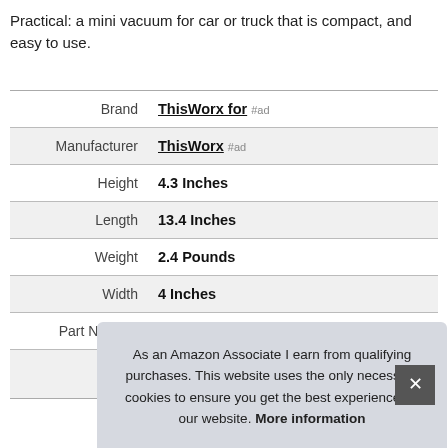Practical: a mini vacuum for car or truck that is compact, and easy to use.
|  |  |
| --- | --- |
| Brand | ThisWorx for #ad |
| Manufacturer | ThisWorx #ad |
| Height | 4.3 Inches |
| Length | 13.4 Inches |
| Weight | 2.4 Pounds |
| Width | 4 Inches |
| Part Number | TWVC01BP1 |
As an Amazon Associate I earn from qualifying purchases. This website uses the only necessary cookies to ensure you get the best experience on our website. More information